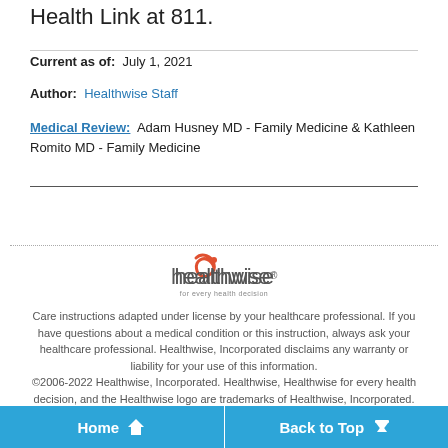Health Link at 811.
Current as of:  July 1, 2021
Author:  Healthwise Staff
Medical Review:  Adam Husney MD - Family Medicine & Kathleen Romito MD - Family Medicine
[Figure (logo): Healthwise logo with red spiral icon and tagline 'for every health decision']
Care instructions adapted under license by your healthcare professional. If you have questions about a medical condition or this instruction, always ask your healthcare professional. Healthwise, Incorporated disclaims any warranty or liability for your use of this information.
©2006-2022 Healthwise, Incorporated. Healthwise, Healthwise for every health decision, and the Healthwise logo are trademarks of Healthwise, Incorporated.
Home   Back to Top